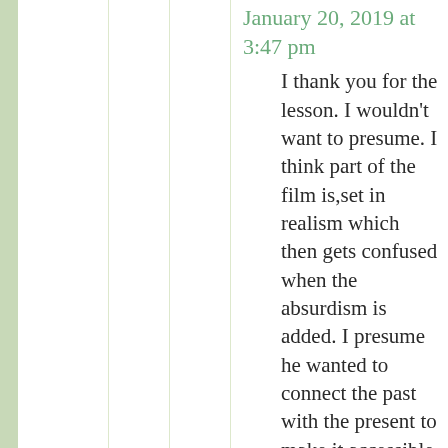January 20, 2019 at 3:47 pm
I thank you for the lesson. I wouldn't want to presume. I think part of the film is,set in realism which then gets confused when the absurdism is added. I presume he wanted to connect the past with the present to make it accessible to audiences today. Crass is crass. I get that. As I said, I